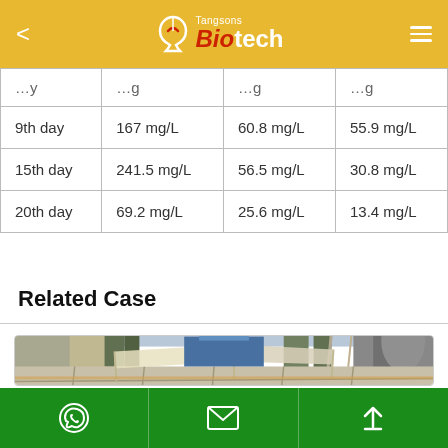Tangsons Biotech
|  | mg/L | mg/L | mg/L |
| --- | --- | --- | --- |
| 9th day | 167 mg/L | 60.8 mg/L | 55.9 mg/L |
| 15th day | 241.5 mg/L | 56.5 mg/L | 30.8 mg/L |
| 20th day | 69.2 mg/L | 25.6 mg/L | 13.4 mg/L |
Related Case
[Figure (photo): Industrial wastewater treatment facility with open tanks/basins, buildings, scaffolding, and industrial structures in background.]